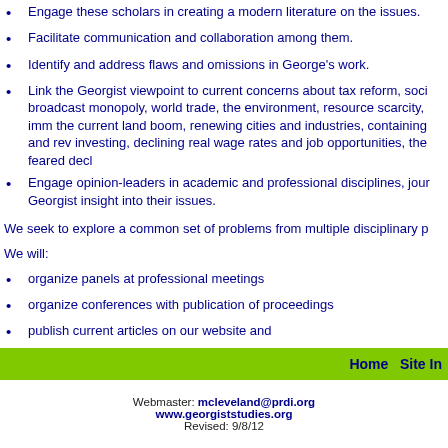Engage these scholars in creating a modern literature on the issues.
Facilitate communication and collaboration among them.
Identify and address flaws and omissions in George's work.
Link the Georgist viewpoint to current concerns about tax reform, social broadcast monopoly, world trade, the environment, resource scarcity, imm the current land boom, renewing cities and industries, containing and rev investing, declining real wage rates and job opportunities, the feared decl
Engage opinion-leaders in academic and professional disciplines, jour Georgist insight into their issues.
We seek to explore a common set of problems from multiple disciplinary p
We will:
organize panels at professional meetings
organize conferences with publication of proceedings
publish current articles on our website and
Create an online database of articles or links to relevant earlier publica
Home   Site In
Webmaster: mcleveland@prdi.org
www.georgiststudies.org
Revised: 9/8/12